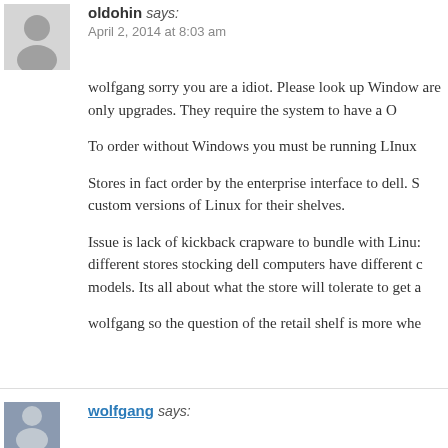oldohin says:
April 2, 2014 at 8:03 am
wolfgang sorry you are a idiot. Please look up Windows are only upgrades. They require the system to have a O
To order without Windows you must be running LInux
Stores in fact order by the enterprise interface to dell. S custom versions of Linux for their shelves.
Issue is lack of kickback crapware to bundle with Linu: different stores stocking dell computers have different c models. Its all about what the store will tolerate to get a
wolfgang so the question of the retail shelf is more whe
wolfgang says: